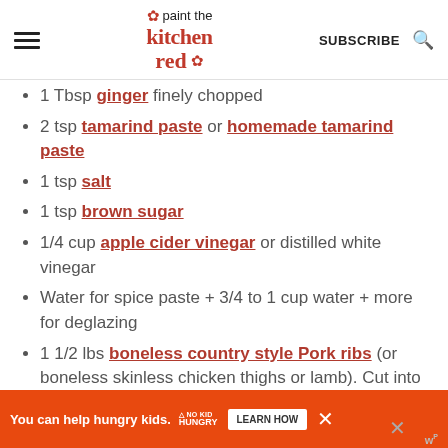paint the kitchen red — SUBSCRIBE
1 Tbsp ginger finely chopped
2 tsp tamarind paste or homemade tamarind paste
1 tsp salt
1 tsp brown sugar
1/4 cup apple cider vinegar or distilled white vinegar
Water for spice paste + 3/4 to 1 cup water + more for deglazing
1 1/2 lbs boneless country style Pork ribs (or boneless skinless chicken thighs or lamb). Cut into 1 1/2 inch
[Figure (other): Advertisement banner: orange background, 'You can help hungry kids.' with No Kid Hungry logo and LEARN HOW button]